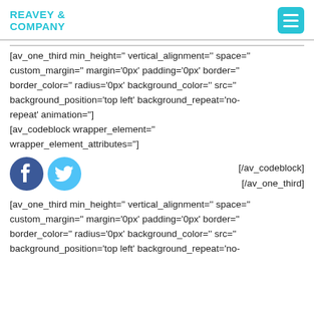REAVEY & COMPANY
[av_one_third min_height='' vertical_alignment='' space='' custom_margin='' margin='0px' padding='0px' border='' border_color='' radius='0px' background_color='' src='' background_position='top left' background_repeat='no-repeat' animation='']
[av_codeblock wrapper_element='' wrapper_element_attributes='']
[Figure (illustration): Facebook and Twitter social media icons side by side]
[/av_codeblock]
[/av_one_third]
[av_one_third min_height='' vertical_alignment='' space='' custom_margin='' margin='0px' padding='0px' border='' border_color='' radius='0px' background_color='' src='' background_position='top left' background_repeat='no-repeat'